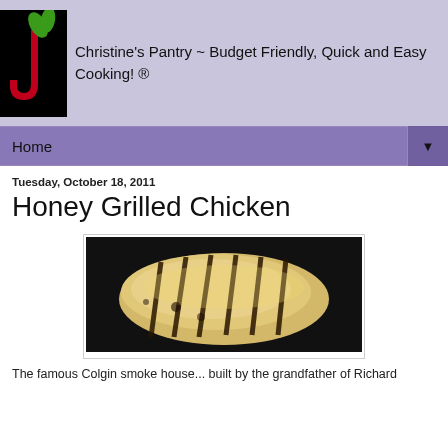[Figure (logo): Christine's Pantry logo: black square with red 'J' shape and green sprout leaves]
Christine's Pantry ~ Budget Friendly, Quick and Easy Cooking! ®
Home ▼
Tuesday, October 18, 2011
Honey Grilled Chicken
[Figure (photo): Photo of honey grilled chicken breast with dark grill marks on a dark background]
The famous Colgin smoke house... built by the grandfather of Richard